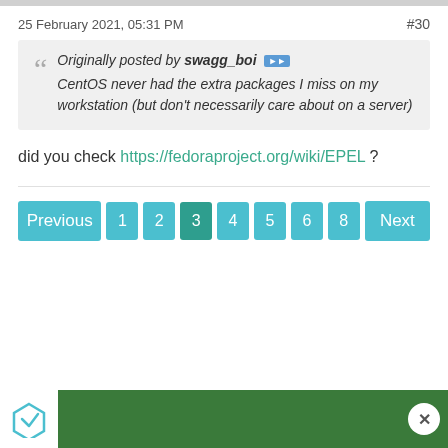25 February 2021, 05:31 PM   #30
Originally posted by swagg_boi [>>] CentOS never had the extra packages I miss on my workstation (but don't necessarily care about on a server)
did you check https://fedoraproject.org/wiki/EPEL ?
Previous 1 2 3 4 5 6 8 Next
[Figure (other): Advertisement bar with green background and logo icon]